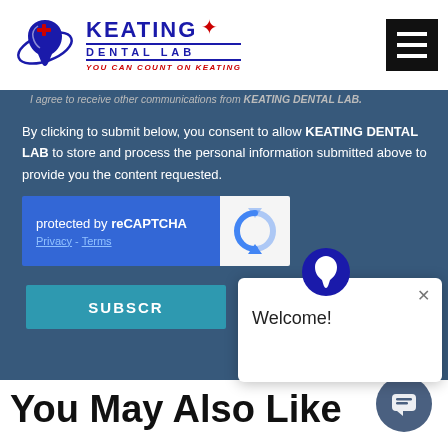[Figure (logo): Keating Dental Lab logo with tooth icon, KEATING text, DENTAL LAB subtitle, and tagline YOU CAN COUNT ON KEATING]
[Figure (other): Hamburger menu button (three white horizontal lines on black background)]
I agree to receive other communications from KEATING DENTAL LAB.
By clicking to submit below, you consent to allow KEATING DENTAL LAB to store and process the personal information submitted above to provide you the content requested.
[Figure (other): reCAPTCHA widget with blue background on left showing 'protected by reCAPTCHA' and Privacy - Terms links, and white box with reCAPTCHA circular arrow logo on right]
[Figure (other): SUBSCRIBE button in teal/cyan color]
[Figure (other): Welcome popup dialog with Keating Dental Lab tooth icon at top and Welcome! text inside white card with X close button]
You May Also Like